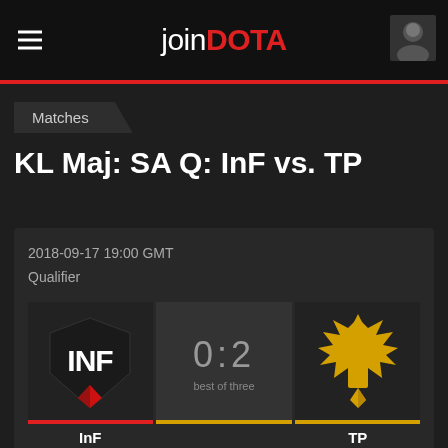joinDOTA
Matches
KL Maj: SA Q: InF vs. TP
2018-09-17 19:00 GMT
Qualifier
[Figure (screenshot): Match result card showing InF logo on left, score 0:2 best of three in center, TP logo on right. InF has red bar, TP has yellow bar.]
InF
TP